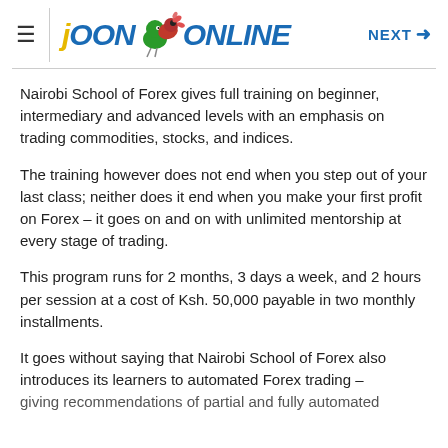JOON ONLINE  NEXT →
Nairobi School of Forex gives full training on beginner, intermediary and advanced levels with an emphasis on trading commodities, stocks, and indices.
The training however does not end when you step out of your last class; neither does it end when you make your first profit on Forex – it goes on and on with unlimited mentorship at every stage of trading.
This program runs for 2 months, 3 days a week, and 2 hours per session at a cost of Ksh. 50,000 payable in two monthly installments.
It goes without saying that Nairobi School of Forex also introduces its learners to automated Forex trading – giving recommendations of partial and fully automated